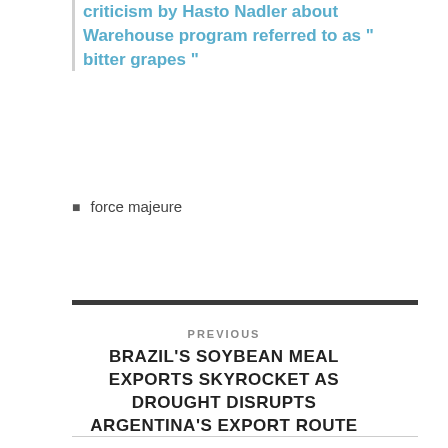criticism by Hasto Nadler about Warehouse program referred to as " bitter grapes "
force majeure
PREVIOUS
BRAZIL'S SOYBEAN MEAL EXPORTS SKYROCKET AS DROUGHT DISRUPTS ARGENTINA'S EXPORT ROUTE
NEXT
OPEN FORUM: SVEC TELEPHONE TOWN HALL SET FOR NOVEMBER 18 ON